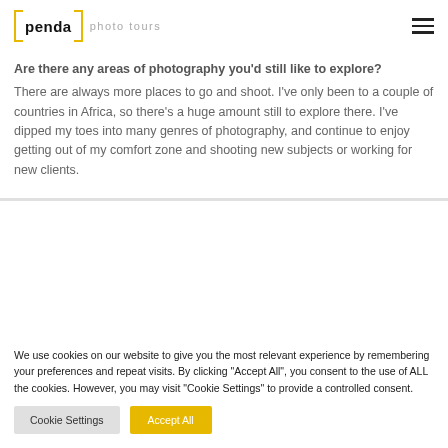penda photo tours
Are there any areas of photography you'd still like to explore?
There are always more places to go and shoot. I've only been to a couple of countries in Africa, so there's a huge amount still to explore there. I've dipped my toes into many genres of photography, and continue to enjoy getting out of my comfort zone and shooting new subjects or working for new clients.
We use cookies on our website to give you the most relevant experience by remembering your preferences and repeat visits. By clicking "Accept All", you consent to the use of ALL the cookies. However, you may visit "Cookie Settings" to provide a controlled consent.